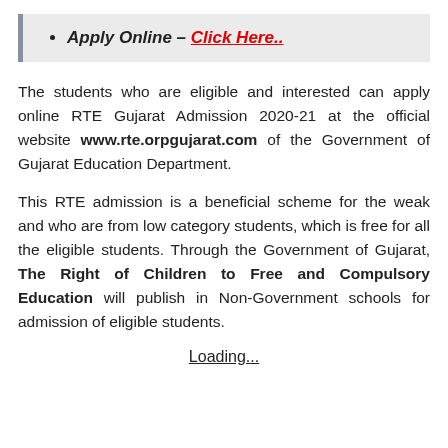Apply Online – Click Here..
The students who are eligible and interested can apply online RTE Gujarat Admission 2020-21 at the official website www.rte.orpgujarat.com of the Government of Gujarat Education Department.
This RTE admission is a beneficial scheme for the weak and who are from low category students, which is free for all the eligible students. Through the Government of Gujarat, The Right of Children to Free and Compulsory Education will publish in Non-Government schools for admission of eligible students.
Loading...